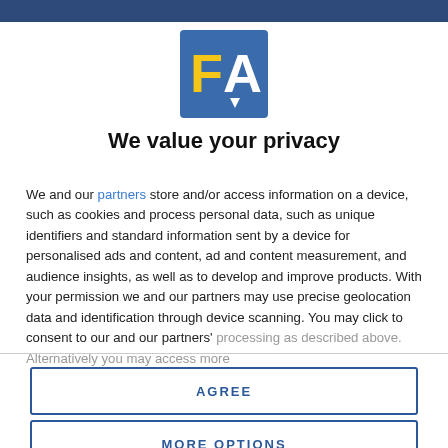[Figure (logo): FA logo — blue square background with yellow 'F' and white 'A' letters]
We value your privacy
We and our partners store and/or access information on a device, such as cookies and process personal data, such as unique identifiers and standard information sent by a device for personalised ads and content, ad and content measurement, and audience insights, as well as to develop and improve products. With your permission we and our partners may use precise geolocation data and identification through device scanning. You may click to consent to our and our partners' processing as described above. Alternatively you may access more
AGREE
MORE OPTIONS